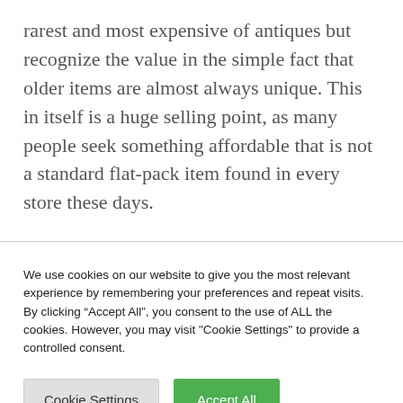rarest and most expensive of antiques but recognize the value in the simple fact that older items are almost always unique. This in itself is a huge selling point, as many people seek something affordable that is not a standard flat-pack item found in every store these days.
We use cookies on our website to give you the most relevant experience by remembering your preferences and repeat visits. By clicking “Accept All”, you consent to the use of ALL the cookies. However, you may visit "Cookie Settings" to provide a controlled consent.